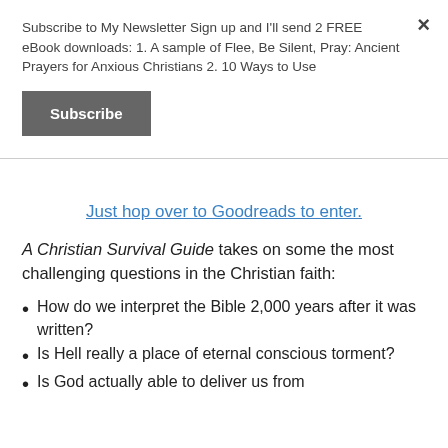Subscribe to My Newsletter Sign up and I'll send 2 FREE eBook downloads: 1. A sample of Flee, Be Silent, Pray: Ancient Prayers for Anxious Christians 2. 10 Ways to Use
Subscribe
Just hop over to Goodreads to enter.
A Christian Survival Guide takes on some the most challenging questions in the Christian faith:
How do we interpret the Bible 2,000 years after it was written?
Is Hell really a place of eternal conscious torment?
Is God actually able to deliver us from